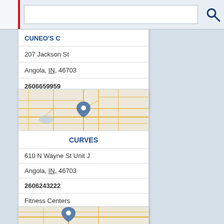[Figure (screenshot): Search bar UI with text input field and search icon (magnifying glass)]
CUNEO'S C
207 Jackson St
Angola, IN, 46703
2606659959
Pittsford Collision
[Figure (map): Map thumbnail showing Angola, IN area with road network and a blue map pin marker in the center]
CURVES
610 N Wayne St Unit J
Angola, IN, 46703
2606243222
Fitness Centers
Gym
Gyms
Health Clubs Gyms
Weight Control
[Figure (map): Partial map thumbnail at bottom of page, cropped]